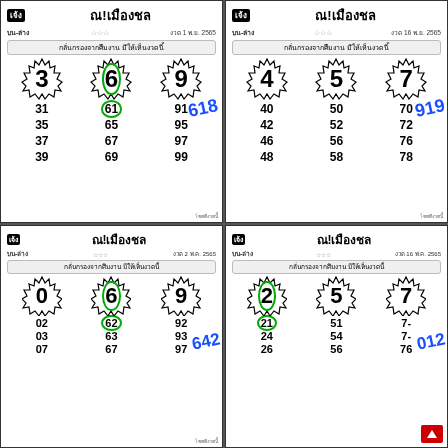[Figure (other): Thai lottery ticket top-left: ณ!เมืองชล, บน-ล่าง, ราคา 50 บาท, งวด 1 พ.ย. 2565, numbers 3 6 9, rows 31 61 91, 35 65 95, 37 67 97, 39 69 99, blue 618]
[Figure (other): Thai lottery ticket top-right: ณ!เมืองชล, บน-ล่าง, ราคา 50 บาท, งวด 16 พ.ย. 2565, numbers 4 5 7, rows 40 50 70, 42 52 72, 46 56 76, 48 58 78, blue 919]
[Figure (other): Thai lottery ticket bottom-left: เจ้ง ณ!เมืองชล, บน-ล่าง, ราคา 30 บาท, งวด 2 พ.ค. 2565, numbers 0 6 9, rows 02 62 92, 03 63 93, 07 67 97, blue 642]
[Figure (other): Thai lottery ticket bottom-right: เจ้ง ณ!เมืองชล, บน-ล่าง, ราคา 30 บาท, งวด 16 พ.ค. 2565, numbers 2 5 7, rows 21 51 7x, 24 54 7x, 26 56 76, blue 012]